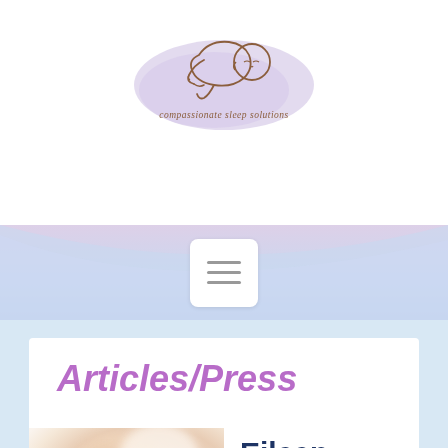[Figure (logo): Compassionate Sleep Solutions logo — line drawing of a sleeping baby curled on a purple/lavender pillow-shaped blob, with the text 'compassionate sleep solutions' below in brown cursive]
[Figure (screenshot): Mobile navigation hamburger menu button — white rounded rectangle with three horizontal grey lines]
Articles/Press
[Figure (photo): Blurred close-up photo of a sleeping baby's face, warm peach/beige tones]
Eileen Henry is